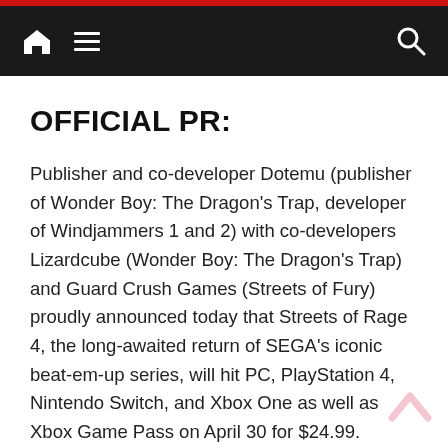Navigation bar with home icon, menu icon, and search icon
OFFICIAL PR:
Publisher and co-developer Dotemu (publisher of Wonder Boy: The Dragon’s Trap, developer of Windjammers 1 and 2) with co-developers Lizardcube (Wonder Boy: The Dragon’s Trap) and Guard Crush Games (Streets of Fury) proudly announced today that Streets of Rage 4, the long-awaited return of SEGA's iconic beat-em-up series, will hit PC, PlayStation 4, Nintendo Switch, and Xbox One as well as Xbox Game Pass on April 30 for $24.99.
The news arrived alongside a trailer revealing the first look at Streets of Rage 4's Battle Mode...